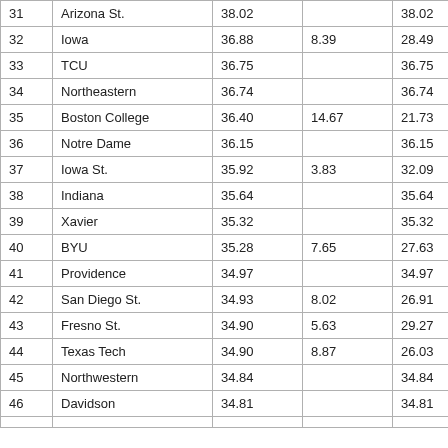| 31 | Arizona St. | 38.02 |  | 38.02 |
| 32 | Iowa | 36.88 | 8.39 | 28.49 |
| 33 | TCU | 36.75 |  | 36.75 |
| 34 | Northeastern | 36.74 |  | 36.74 |
| 35 | Boston College | 36.40 | 14.67 | 21.73 |
| 36 | Notre Dame | 36.15 |  | 36.15 |
| 37 | Iowa St. | 35.92 | 3.83 | 32.09 |
| 38 | Indiana | 35.64 |  | 35.64 |
| 39 | Xavier | 35.32 |  | 35.32 |
| 40 | BYU | 35.28 | 7.65 | 27.63 |
| 41 | Providence | 34.97 |  | 34.97 |
| 42 | San Diego St. | 34.93 | 8.02 | 26.91 |
| 43 | Fresno St. | 34.90 | 5.63 | 29.27 |
| 44 | Texas Tech | 34.90 | 8.87 | 26.03 |
| 45 | Northwestern | 34.84 |  | 34.84 |
| 46 | Davidson | 34.81 |  | 34.81 |